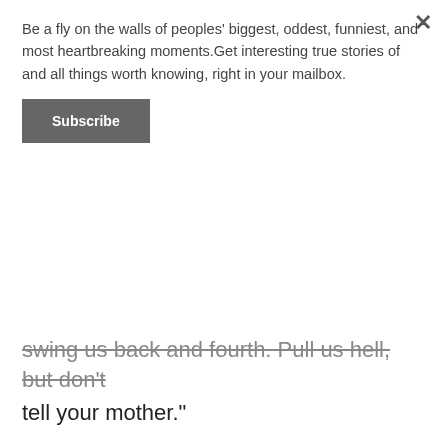Be a fly on the walls of peoples' biggest, oddest, funniest, and most heartbreaking moments.Get interesting true stories of and all things worth knowing, right in your mailbox.
Subscribe
swing us back and fourth. Pull us hell, but don't tell your mother."
closethedoor21